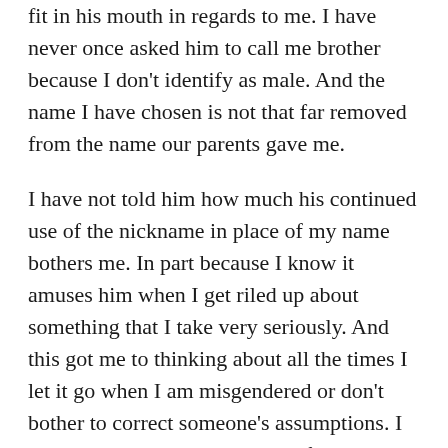fit in his mouth in regards to me. I have never once asked him to call me brother because I don't identify as male. And the name I have chosen is not that far removed from the name our parents gave me.
I have not told him how much his continued use of the nickname in place of my name bothers me. In part because I know it amuses him when I get riled up about something that I take very seriously. And this got me to thinking about all the times I let it go when I am misgendered or don't bother to correct someone's assumptions. I know I do this partly because I feel it is pointless and annoying and too soul revealing and tiring to tell the pharmacy tech or the Lyft driver or the person behind the counter or the wait staff to not call me ma'am or lady. That my pronoun and my gender are not needed in the short exchange we are going to have. And while I know I won't suddenly change and do things differently any time soon, I am also aware that every